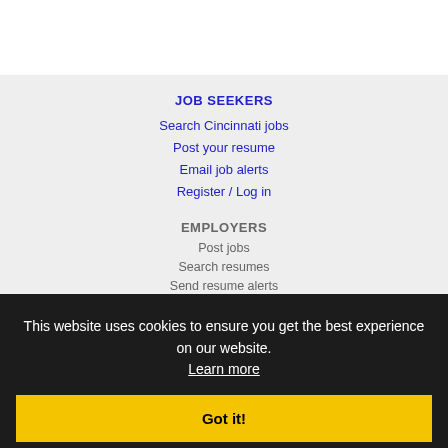JOB SEEKERS
Search Cincinnati jobs
Post your resume
Email job alerts
Register / Log in
EMPLOYERS
Post jobs
Search resumes
Send resume alerts
Advertise
This website uses cookies to ensure you get the best experience on our website.
Learn more
Got it!